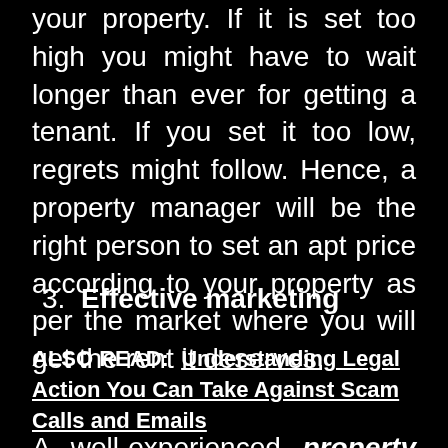your property. If it is set too high you might have to wait longer than ever for getting a tenant. If you set it too low, regrets might follow. Hence, a property manager will be the right person to set an apt price according to your property as per the market where you will get the rent it deserves.
3. Effective marketing
ALSO READ:  Understanding Legal Action You Can Take Against Scam Calls and Emails
A well-experienced property management